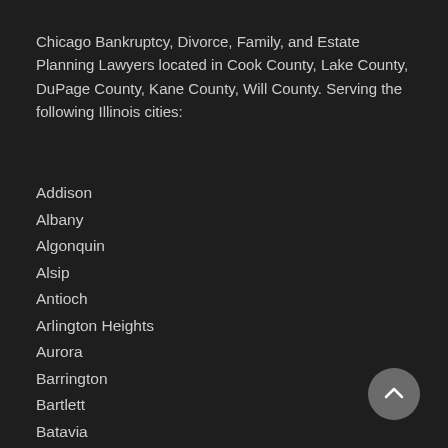Chicago Bankruptcy, Divorce, Family, and Estate Planning Lawyers located in Cook County, Lake County, DuPage County, Kane County, Will County. Serving the following Illinois cities:
Addison
Albany
Algonquin
Alsip
Antioch
Arlington Heights
Aurora
Barrington
Bartlett
Batavia
Beach Park
Beecher